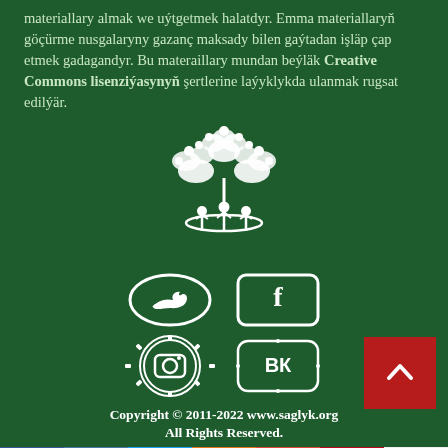materiallary almak we uýtgetmek halatdyr. Emma materiallaryň göçürme nusgalaryny gazanç maksady bilen gaýtadan işläp çap etmek gadagandyr. Bu materaillary mundan beýläk Creative Commons lisenziýasynyň şertlerine laýyklykda ulanmak rugsat edilýär.
[Figure (logo): White tree/people logo on green background]
[Figure (logo): White Twitter and Facebook icons in oval frames]
[Figure (logo): White Instagram and VK icons in decorative frames]
Copyright © 2011-2022 www.saglyk.org All Rights Reserved.
[Figure (other): Social media share bar with Facebook, VK, Twitter, OK, G+, Pinterest buttons and count 0]